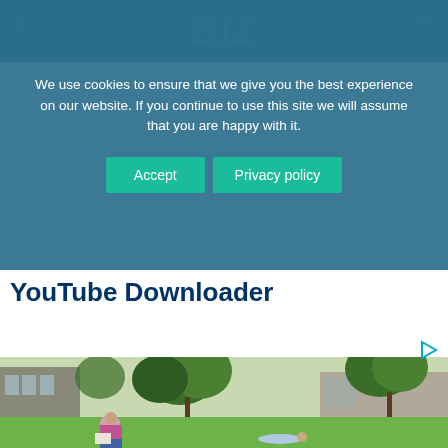BIZ - Business Inside (website header with hamburger menu and search icon)
We use cookies to ensure that we give you the best experience on our website. If you continue to use this site we will assume that you are happy with it.
Accept | Privacy policy
YouTube Downloader
[Figure (photo): Outdoor campus photo showing a woman in a pink sleeveless top sitting on a lawn reading a newspaper, with trees and a building in the background, and another person lying on the grass.]